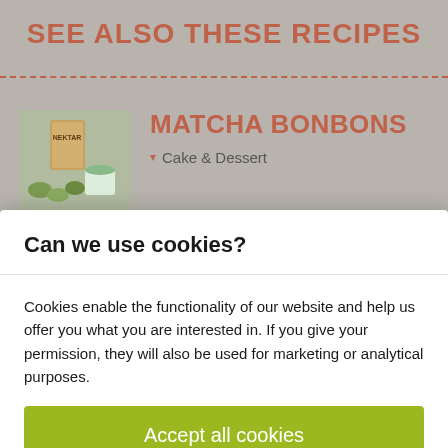SEE ALSO THESE RECIPES
[Figure (photo): Photo of matcha bonbons with a product package visible in the background]
MATCHA BONBONS
Cake & Dessert
Can we use cookies?
Cookies enable the functionality of our website and help us offer you what you are interested in. If you give your permission, they will also be used for marketing or analytical purposes.
Accept all cookies
Cookies settings